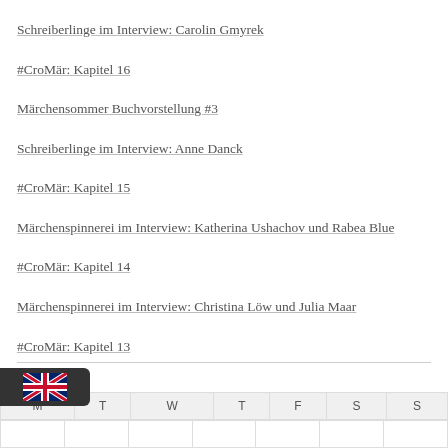Schreiberlinge im Interview: Carolin Gmyrek
#CroMär: Kapitel 16
Märchensommer Buchvorstellung #3
Schreiberlinge im Interview: Anne Danck
#CroMär: Kapitel 15
Märchenspinnerei im Interview: Katherina Ushachov und Rabea Blue
#CroMär: Kapitel 14
Märchenspinnerei im Interview: Christina Löw und Julia Maar
#CroMär: Kapitel 13
JULY 2015
| M | T | W | T | F | S | S |
| --- | --- | --- | --- | --- | --- | --- |
|  |